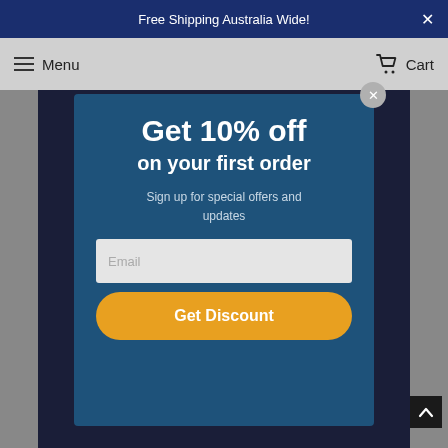Free Shipping Australia Wide!
Menu  Cart
Get 10% off
on your first order
Sign up for special offers and updates
Email
Get Discount